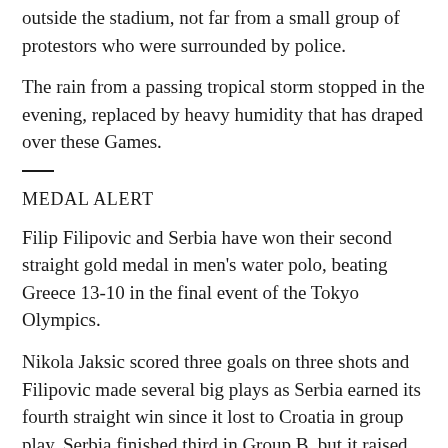outside the stadium, not far from a small group of protestors who were surrounded by police.
The rain from a passing tropical storm stopped in the evening, replaced by heavy humidity that has draped over these Games.
MEDAL ALERT
Filip Filipovic and Serbia have won their second straight gold medal in men's water polo, beating Greece 13-10 in the final event of the Tokyo Olympics.
Nikola Jaksic scored three goals on three shots and Filipovic made several big plays as Serbia earned its fourth straight win since it lost to Croatia in group play. Serbia finished third in Group B, but it raised its game to another level when the quarterfinals rolled around — just like it did when it won gold in 2016.